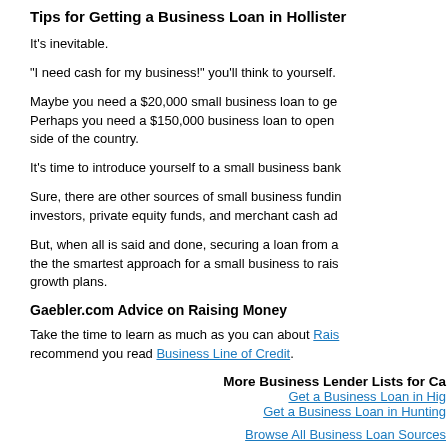Tips for Getting a Business Loan in Hollister
It's inevitable.
"I need cash for my business!" you'll think to yourself.
Maybe you need a $20,000 small business loan to ge... Perhaps you need a $150,000 business loan to open... side of the country.
It's time to introduce yourself to a small business bank...
Sure, there are other sources of small business fundin... investors, private equity funds, and merchant cash ad...
But, when all is said and done, securing a loan from a... the the smartest approach for a small business to rais... growth plans.
Gaebler.com Advice on Raising Money
Take the time to learn as much as you can about Raising Money. We also recommend you read Business Line of Credit.
More Business Lender Lists for Ca...
Get a Business Loan in Hig...
Get a Business Loan in Hunting...
Browse All Business Loan Sources...